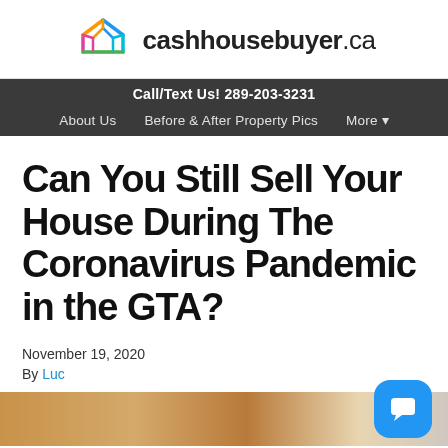cashhousebuyer.ca
Call/Text Us! 289-203-3231 | About Us | Before & After Property Pics | More •
Can You Still Sell Your House During The Coronavirus Pandemic in the GTA?
November 19, 2020
By Luc
[Figure (photo): Partial photo of a house interior/exterior doorway]